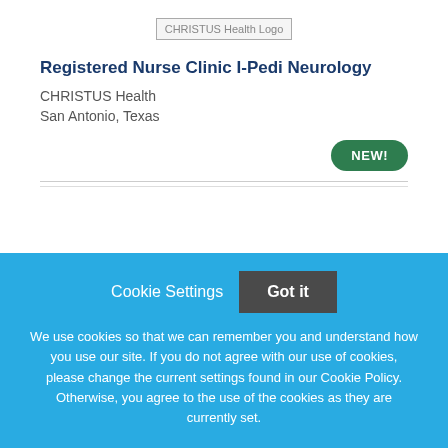[Figure (logo): CHRISTUS Health Logo placeholder image]
Registered Nurse Clinic I-Pedi Neurology
CHRISTUS Health
San Antonio, Texas
NEW!
Cookie Settings   Got it
We use cookies so that we can remember you and understand how you use our site. If you do not agree with our use of cookies, please change the current settings found in our Cookie Policy. Otherwise, you agree to the use of the cookies as they are currently set.